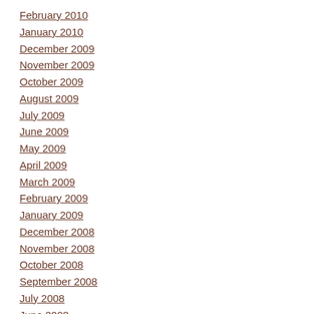February 2010
January 2010
December 2009
November 2009
October 2009
August 2009
July 2009
June 2009
May 2009
April 2009
March 2009
February 2009
January 2009
December 2008
November 2008
October 2008
September 2008
July 2008
June 2008